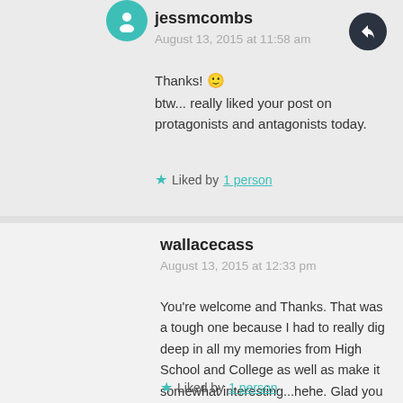jessmcombs
August 13, 2015 at 11:58 am
Thanks! 🙂
btw... really liked your post on protagonists and antagonists today.
★ Liked by 1 person
wallacecass
August 13, 2015 at 12:33 pm
You're welcome and Thanks. That was a tough one because I had to really dig deep in all my memories from High School and College as well as make it somewhat interesting...hehe. Glad you liked it. 🙂
★ Liked by 1 person